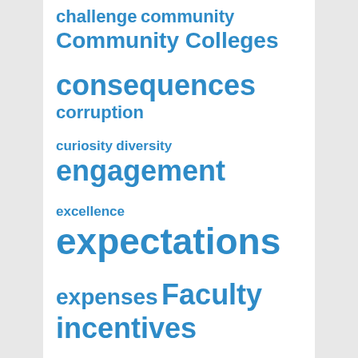[Figure (infographic): Word cloud with education-related terms in various font sizes, all in blue. Terms include: challenge, community, Community Colleges, consequences, corruption, curiosity, diversity, engagement, excellence, expectations, expenses, Faculty, incentives, integrity, leadership, learning, mission, passion, practicality, preparedness, Public, public/private, quality, relevance, scholarship, shared governance, society, standards, students (partial)]